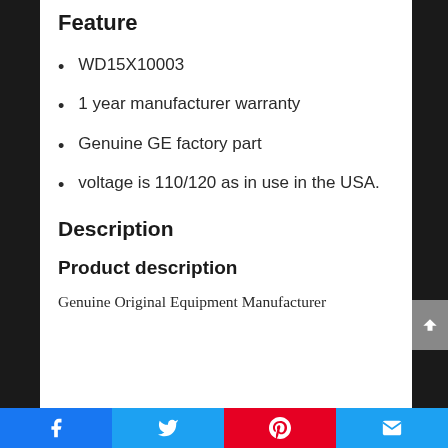Feature
WD15X10003
1 year manufacturer warranty
Genuine GE factory part
voltage is 110/120 as in use in the USA.
Description
Product description
Genuine Original Equipment Manufacturer